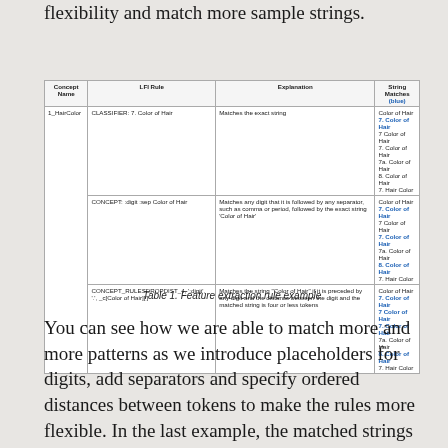in the table are gradually extended to provide more flexibility and match more sample strings.
| Concept Name | LFI Rule | Explanation | String Matches (blue) |
| --- | --- | --- | --- |
| 1_HairColor | CLASSIFIER: 7. Color of Hair | Matches the exact string | Color of Hair
7. Color of Hair
7 Color of Hair
7. Color of Hair
7a. Color of Hair
8. Color of Hair
7. Hair Color |
|  | CONCEPT: :digit :sep Color of Hair | Matches any digit that it is followed by any separator, such as comma or period, followed by the exact string 'Color of Hair' | Color of Hair
7. Color of Hair
7 Color of Hair
7. Color of Hair
7a. Color of Hair
8. Color of Hair
7. Hair Color |
|  | CONCEPT_RULESDROPDIST_4, ':digit', '.', _c[Color of Hair]['] | Matches the string 'Color of Hair' if it is preceded by any digit and the distance between the digit and the matched string is four or less tokens | Color of Hair
7. Color of Hair
7 Color of Hair
7. Color of Hair
7a. Color of Hair
8. Color of Hair
7. Hair Color |
Table 1. Feature extraction rule example
You can see how we are able to match more and more patterns as we introduce placeholders for digits, add separators and specify ordered distances between tokens to make the rules more flexible. In the last example, the matched strings do not include the item number, but that's not a problem, because we know